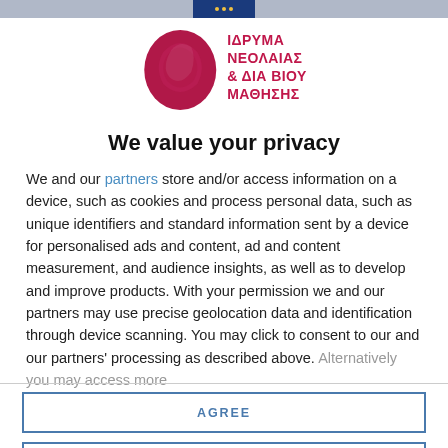[Figure (logo): Ίδρυμα Νεολαίας και Δια Βίου Μάθησης logo with stylized head silhouette in dark red/maroon and Greek text in bold red]
We value your privacy
We and our partners store and/or access information on a device, such as cookies and process personal data, such as unique identifiers and standard information sent by a device for personalised ads and content, ad and content measurement, and audience insights, as well as to develop and improve products. With your permission we and our partners may use precise geolocation data and identification through device scanning. You may click to consent to our and our partners' processing as described above. Alternatively you may access more
AGREE
MORE OPTIONS